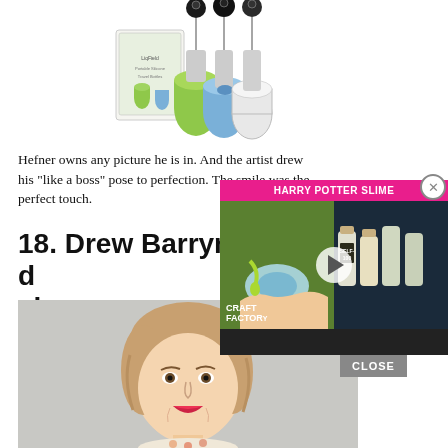[Figure (photo): Product photo of travel-size silicone squeeze bottles with retractable badge-reel clips, shown in green, blue, and clear, alongside product box]
Hefner owns any picture he is in. And the artist drew his “like a boss” pose to perfection. The smile was the perfect touch.
18. Drew Barrymore drawn with cheese
[Figure (photo): Illustration/caricature of Drew Barrymore with wavy brown hair and red lips, wearing a floral top, on a textured grey background]
[Figure (screenshot): Video overlay for 'Harry Potter Slime' from Craft Factory channel, showing a child's hands mixing slime and potion bottles, with pink title bar and play button]
CLOSE